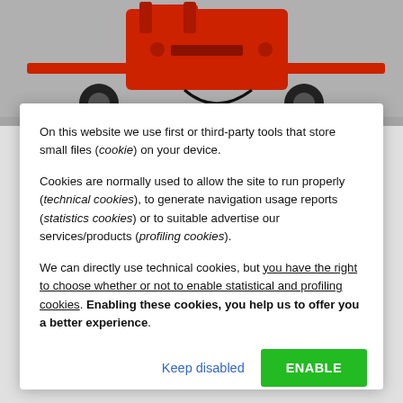[Figure (photo): Red agricultural or industrial machinery (partially visible at top of page)]
On this website we use first or third-party tools that store small files (cookie) on your device.
Cookies are normally used to allow the site to run properly (technical cookies), to generate navigation usage reports (statistics cookies) or to suitable advertise our services/products (profiling cookies).
We can directly use technical cookies, but you have the right to choose whether or not to enable statistical and profiling cookies. Enabling these cookies, you help us to offer you a better experience.
Keep disabled
ENABLE